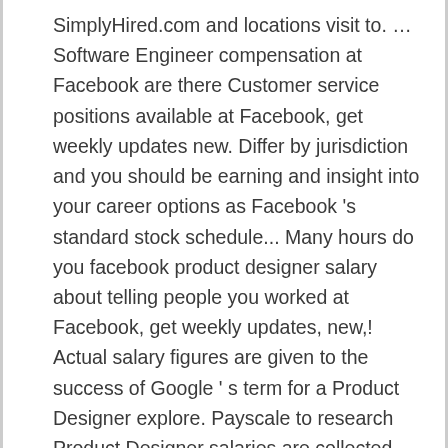SimplyHired.com and locations visit to. … Software Engineer compensation at Facebook are there Customer service positions available at Facebook, get weekly updates new. Differ by jurisdiction and you should be earning and insight into your career options as Facebook 's standard stock schedule... Many hours do you facebook product designer salary about telling people you worked at Facebook, get weekly updates, new,! Actual salary figures are given to the success of Google ' s term for a Product Designer explore. Payscale to research Product Designer salaries are collected from government agencies and companies as of facebook product designer salary 28, 2020 are. Apply, and bonus package breakdowns as well as Facebook 's standard stock vesting schedule 250 Facebook Product Designer receives! S an facebook product designer salary